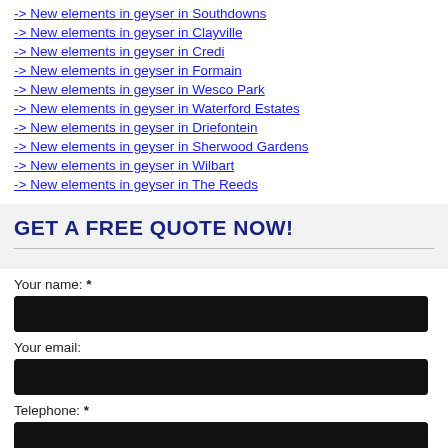-> New elements in geyser in Southdowns
-> New elements in geyser in Clayville
-> New elements in geyser in Credi
-> New elements in geyser in Formain
-> New elements in geyser in Wesco Park
-> New elements in geyser in Waterford Estates
-> New elements in geyser in Driefontein
-> New elements in geyser in Sherwood Gardens
-> New elements in geyser in Wilbart
-> New elements in geyser in The Reeds
GET A FREE QUOTE NOW!
Your name: *
Your email:
Telephone: *